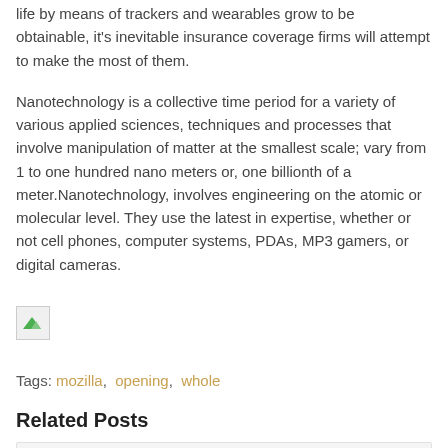life by means of trackers and wearables grow to be obtainable, it's inevitable insurance coverage firms will attempt to make the most of them.
Nanotechnology is a collective time period for a variety of various applied sciences, techniques and processes that involve manipulation of matter at the smallest scale; vary from 1 to one hundred nano meters or, one billionth of a meter.Nanotechnology, involves engineering on the atomic or molecular level. They use the latest in expertise, whether or not cell phones, computer systems, PDAs, MP3 gamers, or digital cameras.
[Figure (photo): Broken/missing image placeholder icon]
Tags: mozilla, opening, whole
Related Posts
New Know-how In Web Improvement